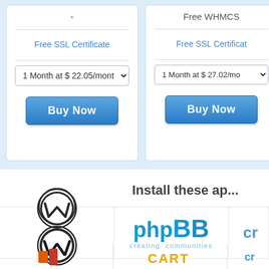-
Free WHMCS
Free SSL Certificate
Free SSL Certificate
1 Month at $ 22.05/month
1 Month at $ 27.02/month
Buy Now
Buy Now
Install these ap...
[Figure (logo): WordPress logo with circular W icon and WORDPRESS text below]
[Figure (logo): phpBB logo with blue text and 'creating communities' tagline]
[Figure (logo): Partial logo on right edge (cr...)]
[Figure (logo): Partial Joomla logo bottom left]
[Figure (logo): Partial cart/host logo bottom right]